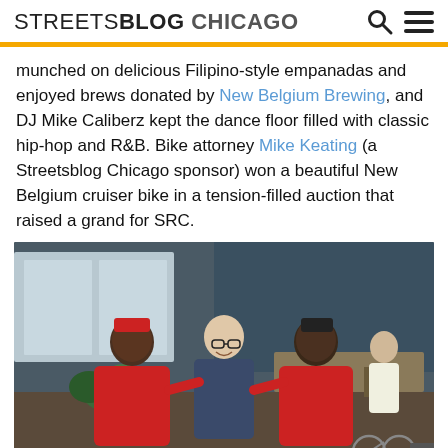STREETSBLOG CHICAGO
munched on delicious Filipino-style empanadas and enjoyed brews donated by New Belgium Brewing, and DJ Mike Caliberz kept the dance floor filled with classic hip-hop and R&B. Bike attorney Mike Keating (a Streetsblog Chicago sponsor) won a beautiful New Belgium cruiser bike in a tension-filled auction that raised a grand for SRC.
[Figure (photo): Three men posing together indoors at an event venue. Two men on the sides are wearing red hoodies, and the man in the middle is wearing a dark shirt and glasses, smiling. Other people and tables are visible in the background.]